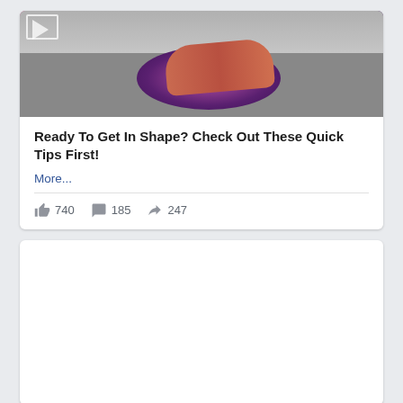[Figure (photo): A person doing a pushup or plank exercise on a colorful purple circular yoga/exercise mat on a concrete surface. There is a play button icon overlay in the top left corner of the image.]
Ready To Get In Shape? Check Out These Quick Tips First!
More...
740  185  247